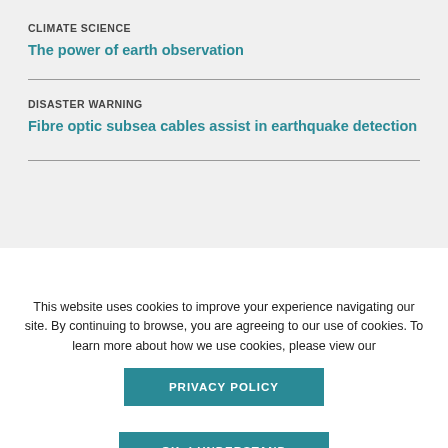CLIMATE SCIENCE
The power of earth observation
DISASTER WARNING
Fibre optic subsea cables assist in earthquake detection
This website uses cookies to improve your experience navigating our site. By continuing to browse, you are agreeing to our use of cookies. To learn more about how we use cookies, please view our
PRIVACY POLICY
OK, I UNDERSTAND